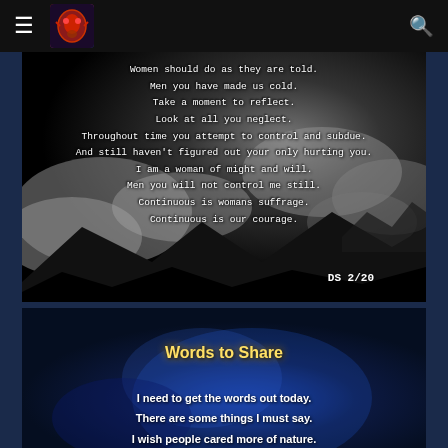Navigation bar with hamburger menu, logo, and search icon
[Figure (illustration): Dark stormy sky with clouds and mountain silhouette background. White text poem overlay reading: Women should do as they are told. / Men you have made us cold. / Take a moment to reflect. / Look at all you neglect. / Throughout time you attempt to control and subdue. / And still haven't figured out your only hurting you. / I am a woman of might and will. / Men you will not control me still. / Continuous is womans suffrage. / Continuous is our courage. / DS 2/20]
[Figure (illustration): Dark blue blurred background with title 'Words to Share' in yellow/gold text. Below: poem beginning 'I need to get the words out today. / There are some things I must say. / I wish people cared more of nature...' in white bold text.]